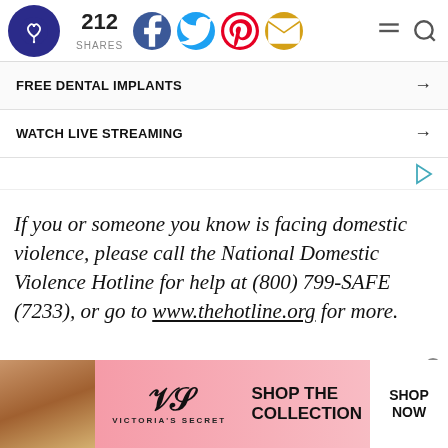212 SHARES — social share bar with Facebook, Twitter, Pinterest, Email icons, hamburger menu and search
FREE DENTAL IMPLANTS →
WATCH LIVE STREAMING →
If you or someone you know is facing domestic violence, please call the National Domestic Violence Hotline for help at (800) 799-SAFE (7233), or go to www.thehotline.org for more.
[Figure (infographic): Victoria's Secret advertisement banner with model photo, VS logo, 'SHOP THE COLLECTION' text, and 'SHOP NOW' button]